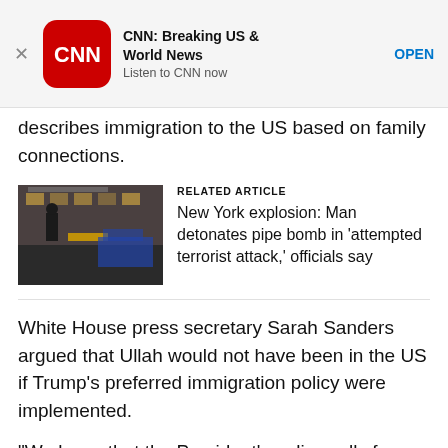[Figure (screenshot): CNN app advertisement banner with CNN logo icon, title 'CNN: Breaking US & World News', subtitle 'Listen to CNN now', and OPEN button]
describes immigration to the US based on family connections.
[Figure (photo): Photo of police officers outside Port Authority Bus Terminal]
RELATED ARTICLE
New York explosion: Man detonates pipe bomb in 'attempted terrorist attack,' officials say
White House press secretary Sarah Sanders argued that Ullah would not have been in the US if Trump's preferred immigration policy were implemented.
“We know that the President’s policy calls for an end to chain migration, which is what this individual came to the United States through, and had his